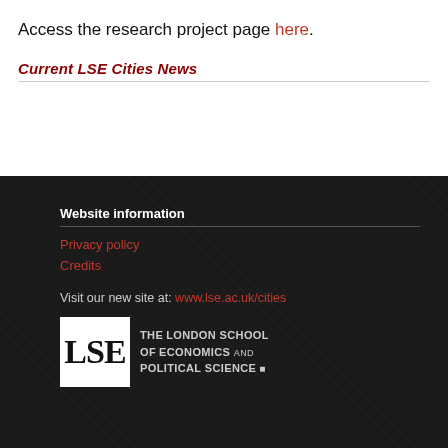Access the research project page here.
Current LSE Cities News
Website information
Privacy policy
Credits
Visit our new site at: www.lse.ac.uk/cities
LSE — The London School of Economics and Political Science